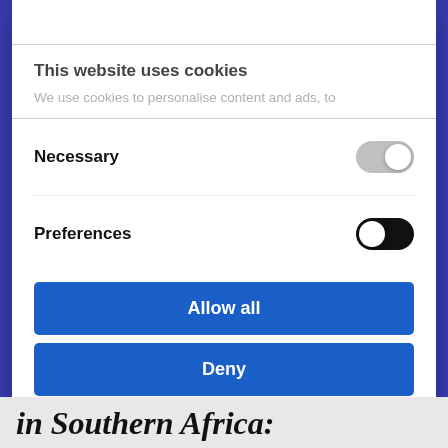This website uses cookies
We use cookies to personalise content and ads, to
Necessary
Preferences
Allow all
Deny
Powered by Cookiebot by Usercentrics
in Southern Africa: